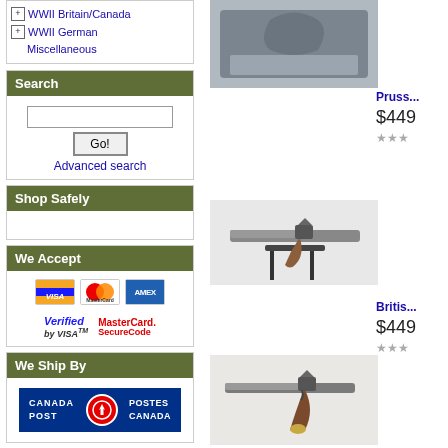WWII Britain/Canada
WWII German
Miscellaneous
Search
Go! Advanced search
Shop Safely
We Accept
[Figure (logo): Payment method logos: Visa, MasterCard, AMEX, Verified by Visa, MasterCard SecureCode]
We Ship By
[Figure (logo): Canada Post / Postes Canada logo]
[Figure (photo): Antique item photo (top right, partially visible)]
Pruss...
$449
[Figure (photo): Antique flintlock pistol on stand]
Britis...
$449
[Figure (photo): Antique flintlock pistol (brown grip)]